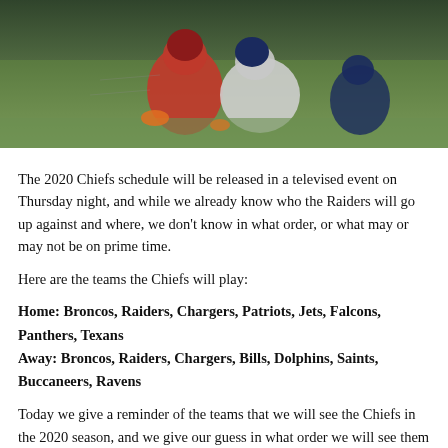[Figure (photo): Football action photo showing players tackling, one in red Chiefs uniform and one in white Patriots uniform, on a grass field]
The 2020 Chiefs schedule will be released in a televised event on Thursday night, and while we already know who the Raiders will go up against and where, we don't know in what order, or what may or may not be on prime time.
Here are the teams the Chiefs will play:
Home: Broncos, Raiders, Chargers, Patriots, Jets, Falcons, Panthers, Texans
Away: Broncos, Raiders, Chargers, Bills, Dolphins, Saints, Buccaneers, Ravens
Today we give a reminder of the teams that we will see the Chiefs in the 2020 season, and we give our guess in what order we will see them in.
(A quick sidebar – we are moving forward with this schedule as if the season will start and play out on time, with no issues due to the covid-19 pandemic).